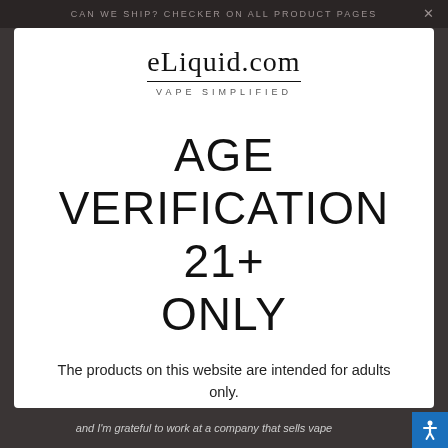CAN WE SHIP? CHECKER ON ALL PRODUCT PAGES
[Figure (logo): eLiquid.com logo with tagline VAPE SIMPLIFIED]
AGE VERIFICATION 21+ ONLY
The products on this website are intended for adults only. By selecting YES, you certify that you are at least 21 years old and of legal smoking age.
YES   NO
and I'm grateful to work at a company that sells vape